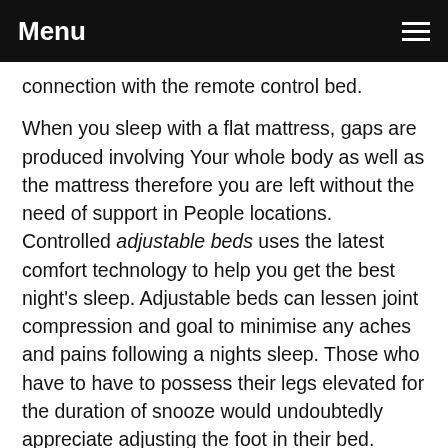Menu
connection with the remote control bed. When you sleep with a flat mattress, gaps are produced involving Your whole body as well as the mattress therefore you are left without the need of support in People locations. Controlled adjustable beds uses the latest comfort technology to help you get the best night's sleep. Adjustable beds can lessen joint compression and goal to minimise any aches and pains following a nights sleep. Those who have to have to possess their legs elevated for the duration of snooze would undoubtedly appreciate adjusting the foot in their bed. Getting a reclining mattress that elevates your toes during the night time will cut down swelling and will assistance avert the possibility of acquiring